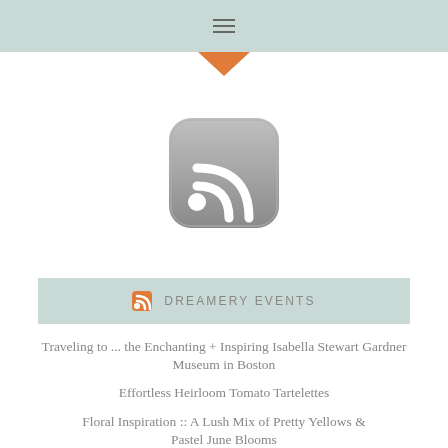≡
[Figure (illustration): Gray RSS feed icon with rounded square background]
DREAMERY EVENTS
Traveling to ... the Enchanting + Inspiring Isabella Stewart Gardner Museum in Boston
Effortless Heirloom Tomato Tartelettes
Floral Inspiration :: A Lush Mix of Pretty Yellows & Pastel June Blooms
Lime Tart with a Saltine Cracker Crust